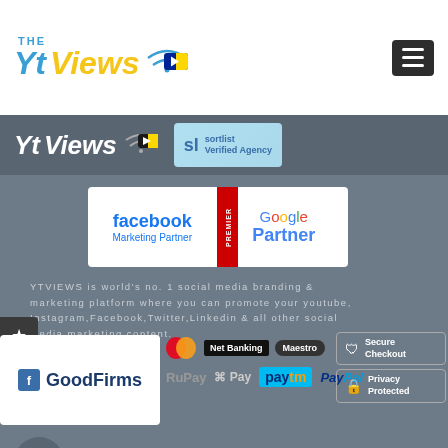[Figure (logo): THE Yt Views logo in top white bar with wifi icon, blue and yellow text]
[Figure (logo): Hamburger menu icon in dark box top right]
[Figure (logo): Yt Views logo on dark grey banner with sortlist Verified Agency badge]
[Figure (logo): Facebook Marketing Partner and Google Premier Partner badges]
YTVIEWS is world's no. 1 social media branding & marketing platform where you can promote your youtube, Instagram,Facebook,Twitter,Linkedin & all other social media marketing content.
[Figure (logo): GoodFirms logo badge in white box]
[Figure (logo): Payment method logos: Mastercard, Net Banking, Maestro, RuPay, Apple Pay, Paytm, PayPal with Secure Checkout and Privacy Protected badges]
© 2022 Complay Online Media LLC